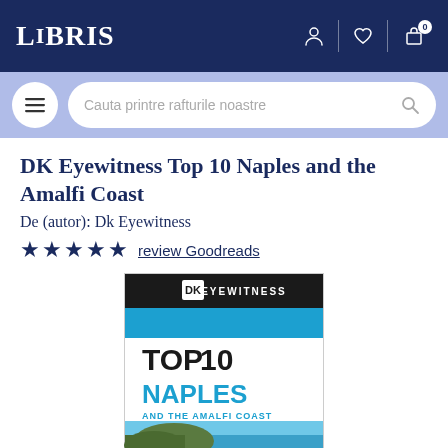LIBRIS
Cauta printre rafturile noastre
DK Eyewitness Top 10 Naples and the Amalfi Coast
De (autor): Dk Eyewitness
★★★★★ review Goodreads
[Figure (photo): Book cover of DK Eyewitness Top 10 Naples and the Amalfi Coast, showing the DK Eyewitness logo on a dark banner at top, then 'TOP 10' and 'NAPLES AND THE AMALFI COAST' text, with a coastal landscape photo below.]